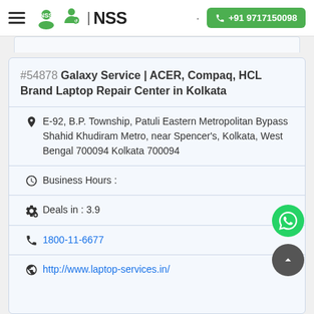NSS | +91 9717150098
#54878 Galaxy Service | ACER, Compaq, HCL Brand Laptop Repair Center in Kolkata
E-92, B.P. Township, Patuli Eastern Metropolitan Bypass Shahid Khudiram Metro, near Spencer's, Kolkata, West Bengal 700094 Kolkata 700094
Business Hours :
Deals in : 3.9
1800-11-6677
http://www.laptop-services.in/